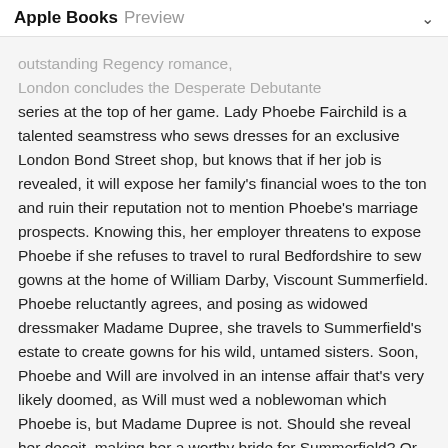Apple Books Preview
outstanding Regency romance, London concludes the Desperate Debutante series at the top of her game. Lady Phoebe Fairchild is a talented seamstress who sews dresses for an exclusive London Bond Street shop, but knows that if her job is revealed, it will expose her family's financial woes to the ton and ruin their reputation not to mention Phoebe's marriage prospects. Knowing this, her employer threatens to expose Phoebe if she refuses to travel to rural Bedfordshire to sew gowns at the home of William Darby, Viscount Summerfield. Phoebe reluctantly agrees, and posing as widowed dressmaker Madame Dupree, she travels to Summerfield's estate to create gowns for his wild, untamed sisters. Soon, Phoebe and Will are involved in an intense affair that's very likely doomed, as Will must wed a noblewoman which Phoebe is, but Madame Dupree is not. Should she reveal her deceit, making her a worthy bride for Summerfield? Or should she keep up the charade, lest he despise her for her duplicity? As London